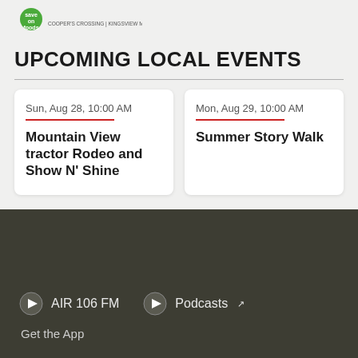[Figure (logo): Save on Foods logo with text 'COOPER'S CROSSING | KINGSVIEW MARKET']
UPCOMING LOCAL EVENTS
Sun, Aug 28, 10:00 AM — Mountain View tractor Rodeo and Show N' Shine
Mon, Aug 29, 10:00 AM — Summer Story Walk
AIR 106 FM
Podcasts
Get the App